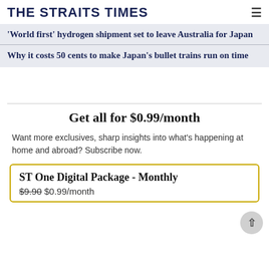THE STRAITS TIMES
'World first' hydrogen shipment set to leave Australia for Japan
Why it costs 50 cents to make Japan's bullet trains run on time
Get all for $0.99/month
Want more exclusives, sharp insights into what's happening at home and abroad? Subscribe now.
ST One Digital Package - Monthly
$9.90 $0.99/month